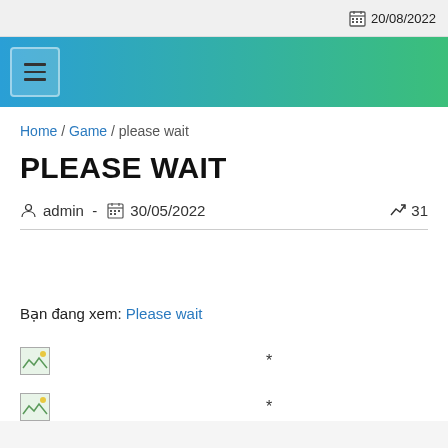20/08/2022
[Figure (screenshot): Navigation header banner with hamburger menu icon, blue-to-green gradient background]
Home / Game / please wait
PLEASE WAIT
admin - 30/05/2022   31
Bạn đang xem: Please wait
[Figure (photo): Small broken/loading image thumbnail with asterisk]
[Figure (photo): Small broken/loading image thumbnail with asterisk]